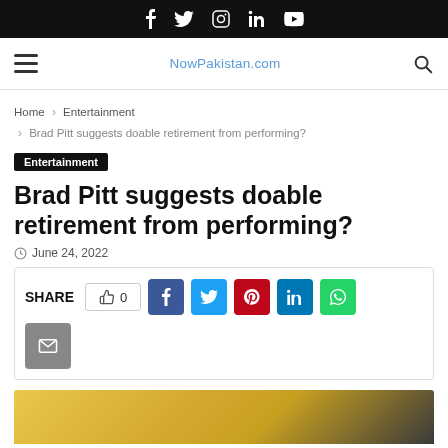Social media icons bar (f, twitter, instagram, in, youtube)
NowPakistan.com navigation bar with hamburger menu and search icon
Home > Entertainment > Brad Pitt suggests doable retirement from performing?
Entertainment
Brad Pitt suggests doable retirement from performing?
June 24, 2022
SHARE  0  [social share buttons: facebook, twitter, pinterest, linkedin, whatsapp, email]
[Figure (photo): Photo of Brad Pitt with golden/yellow background, partially visible at bottom of page]